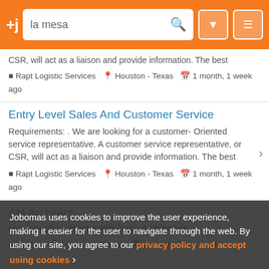[Figure (screenshot): Jobomas job search app header with orange background, +j logo, search bar with 'la mesa' text, filter icon, and menu icon]
CSR, will act as a liaison and provide information. The best
Rapt Logistic Services  Houston - Texas  1 month, 1 week ago
Entry Level Sales And Customer Service
Requirements: . We are looking for a customer- Oriented service representative. A customer service representative, or CSR, will act as a liaison and provide information. The best
Rapt Logistic Services  Houston - Texas  1 month, 1 week ago
AM Architect
Jobomas uses cookies to improve the user experience, making it easier for the user to navigate through the web. By using our site, you agree to our privacy policy and accept using cookies
specific subject matter kno... Architecture. -
Kaygen  Irvine - California  1 month, 2 weeks ago